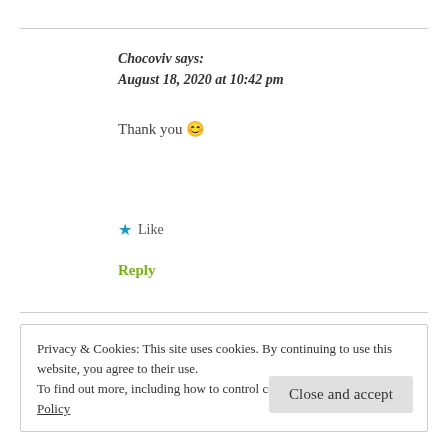Chocoviv says:
August 18, 2020 at 10:42 pm
Thank you 😊
★ Like
Reply
Privacy & Cookies: This site uses cookies. By continuing to use this website, you agree to their use.
To find out more, including how to control cookies, see here: Cookie Policy
Close and accept